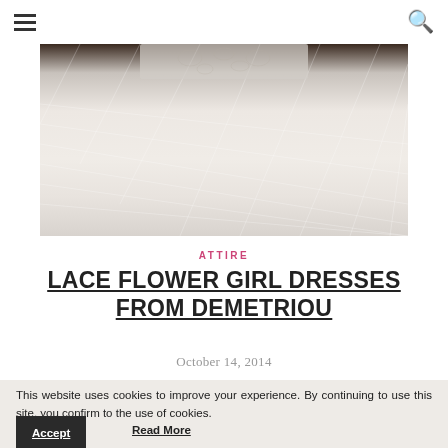≡  🔍
[Figure (photo): White lace and tulle flower girl dress, close-up showing the fabric texture and layered tulle skirt]
ATTIRE
LACE FLOWER GIRL DRESSES FROM DEMETRIOU
October 14, 2014
This website uses cookies to improve your experience. By continuing to use this site, you confirm to the use of cookies.
Accept
Read More